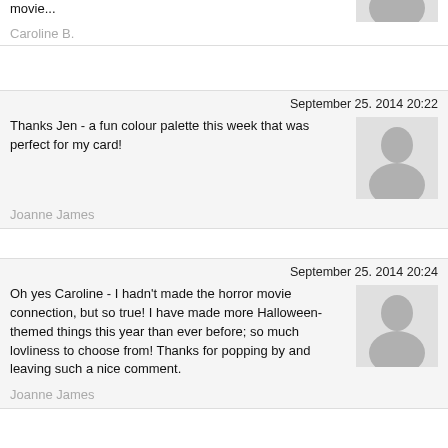movie...
Caroline B.
September 25. 2014 20:22
Thanks Jen - a fun colour palette this week that was perfect for my card!
Joanne James
September 25. 2014 20:24
Oh yes Caroline - I hadn't made the horror movie connection, but so true! I have made more Halloween-themed things this year than ever before; so much lovliness to choose from! Thanks for popping by and leaving such a nice comment.
Joanne James